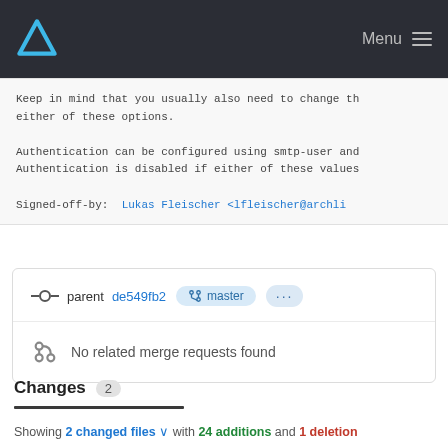Menu
Keep in mind that you usually also need to change th either of these options.

Authentication can be configured using smtp-user and Authentication is disabled if either of these values

Signed-off-by: Lukas Fleischer <lfleischer@archli
parent de549fb2 master ...
No related merge requests found
Changes 2
Showing 2 changed files with 24 additions and 1 deletion